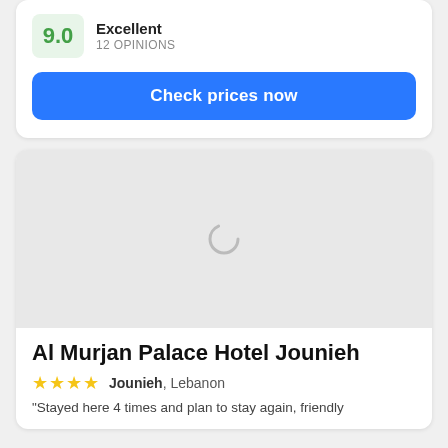9.0 Excellent
12 OPINIONS
Check prices now
[Figure (photo): Hotel image loading placeholder with spinner icon on grey background]
Al Murjan Palace Hotel Jounieh
★★★★ Jounieh, Lebanon
"Stayed here 4 times and plan to stay again, friendly